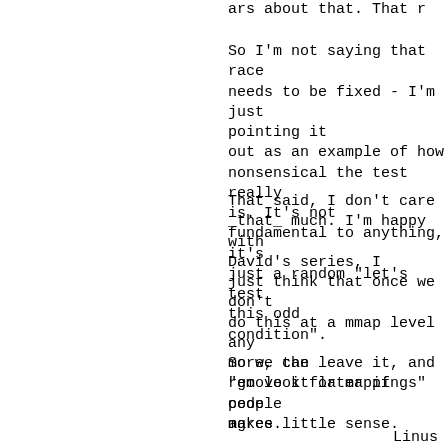ars about that. That r
So I'm not saying that race needs to be fixed - I'm just pointing it out as an example of how nonsensical the test really is. It's not fundamental to anything, it's just a random "let's test this odd condition".
That said, I don't care _that_ much. I'm happy with David's series, I just think that once we don't do this at a mmap level any more, the "go look for mappings" code makes little sense.
So we can leave it, and remove it later if people agree.
Linus
^ permalink raw reply [flat|nested] 18+ messages in thread